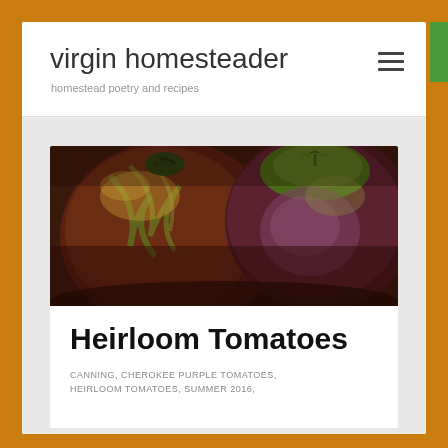virgin homesteader
homestead poetry and recipes
[Figure (photo): Close-up photo of heirloom tomatoes, specifically Cherokee Purple varieties, showing dark reddish-purple and green-streaked skin with stems visible]
Heirloom Tomatoes
CANNING, CHEROKEE PURPLE TOMATOES, HEIRLOOM TOMATOES, SUMMER 2016,